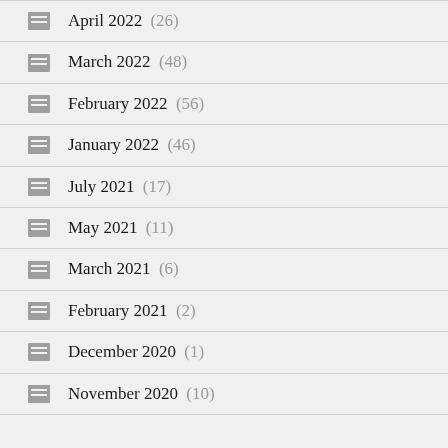April 2022 (26)
March 2022 (48)
February 2022 (56)
January 2022 (46)
July 2021 (17)
May 2021 (11)
March 2021 (6)
February 2021 (2)
December 2020 (1)
November 2020 (10)